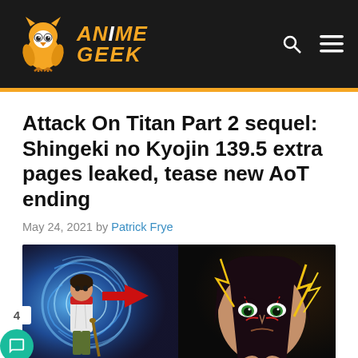[Figure (logo): Anime Geek website logo with owl mascot in orange/white on black navbar, search and hamburger menu icons on right]
Attack On Titan Part 2 sequel: Shingeki no Kyojin 139.5 extra pages leaked, tease new AoT ending
May 24, 2021 by Patrick Frye
[Figure (photo): Anime art showing a boy character with white shirt and cane on left with blue swirling energy background, red arrow pointing right toward a dark-haired character with green eyes and lightning effects on the right]